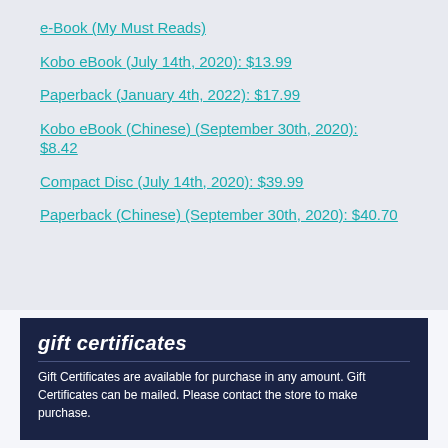e-Book (My Must Reads)
Kobo eBook (July 14th, 2020): $13.99
Paperback (January 4th, 2022): $17.99
Kobo eBook (Chinese) (September 30th, 2020): $8.42
Compact Disc (July 14th, 2020): $39.99
Paperback (Chinese) (September 30th, 2020): $40.70
gift certificates
Gift Certificates are available for purchase in any amount. Gift Certificates can be mailed. Please contact the store to make purchase.
get our newsletter!